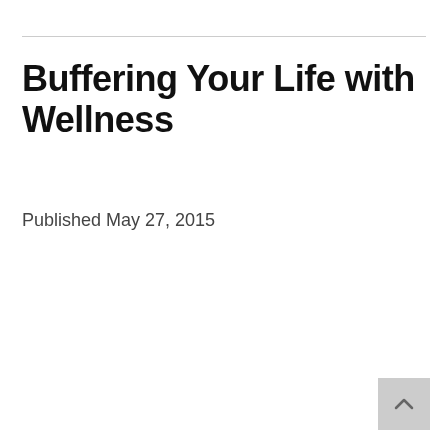Buffering Your Life with Wellness
Published May 27, 2015